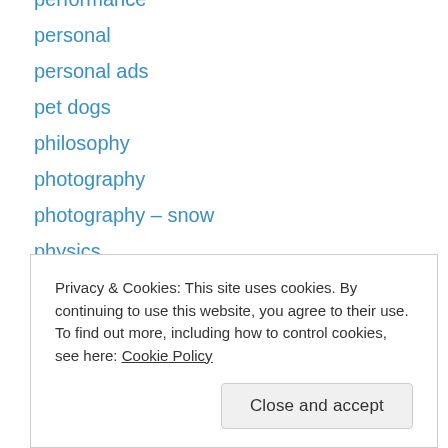performance
personal
personal ads
pet dogs
philosophy
photography
photography – snow
physics
piracy
plant diseases
play
play review
poetry
politics
Privacy & Cookies: This site uses cookies. By continuing to use this website, you agree to their use. To find out more, including how to control cookies, see here: Cookie Policy
psychology